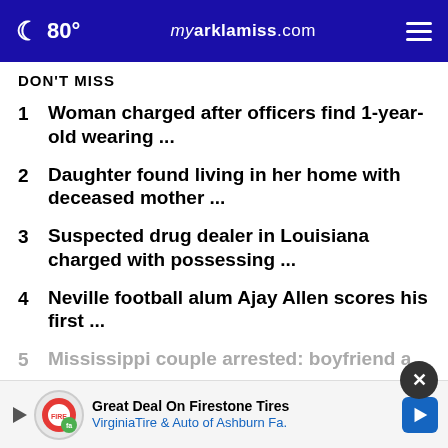80° myarklamiss.com
DON'T MISS
1  Woman charged after officers find 1-year-old wearing ...
2  Daughter found living in her home with deceased mother ...
3  Suspected drug dealer in Louisiana charged with possessing ...
4  Neville football alum Ajay Allen scores his first ...
5  Mississippi couple arrested: boyfriend a...
[Figure (other): Advertisement banner: Great Deal On Firestone Tires - VirginiaTire & Auto of Ashburn Fa. with Firestone logo and close button.]